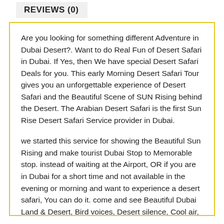REVIEWS (0)
Are you looking for something different Adventure in Dubai Desert?. Want to do Real Fun of Desert Safari in Dubai. If Yes, then We have special Desert Safari Deals for you. This early Morning Desert Safari Tour gives you an unforgettable experience of Desert Safari and the Beautiful Scene of SUN Rising behind the Desert. The Arabian Desert Safari is the first Sun Rise Desert Safari Service provider in Dubai.
we started this service for showing the Beautiful Sun Rising and make tourist Dubai Stop to Memorable stop. instead of waiting at the Airport, OR if you are in Dubai for a short time and not available in the evening or morning and want to experience a desert safari, You can do it. come and see Beautiful Dubai Land & Desert, Bird voices, Desert silence, Cool air, Eye-Catching scene of sun rising and it spreading